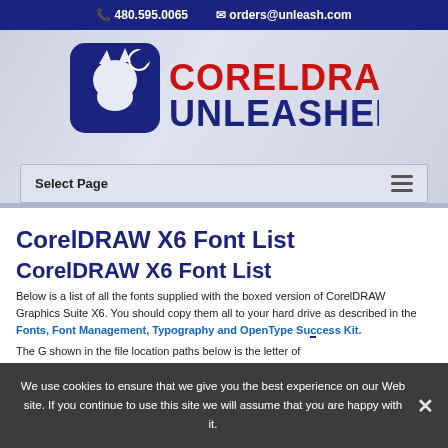📞 480.595.0065   ✉ orders@unleash.com
[Figure (logo): CorelDRAW Unleashed logo — blue wolf icon with CORELDRAW in red and UNLEASHED in blue bold text]
Select Page
CorelDRAW X6 Font List
CorelDRAW X6 Font List
Below is a list of all the fonts supplied with the boxed version of CorelDRAW Graphics Suite X6. You should copy them all to your hard drive as described in the Fonts, Font Management, Typography and OpenType Success Kit.
The G shown in the file location paths below is the letter of
We use cookies to ensure that we give you the best experience on our Web site. If you continue to use this site we will assume that you are happy with it.